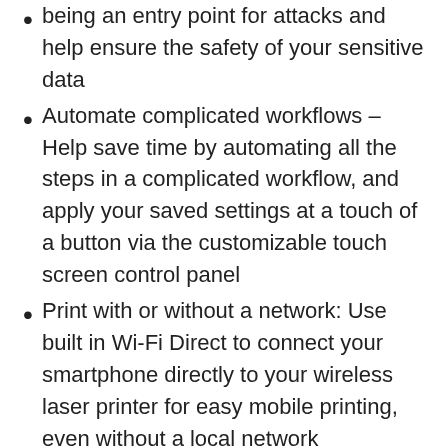being an entry point for attacks and help ensure the safety of your sensitive data
Automate complicated workflows – Help save time by automating all the steps in a complicated workflow, and apply your saved settings at a touch of a button via the customizable touch screen control panel
Print with or without a network: Use built in Wi-Fi Direct to connect your smartphone directly to your wireless laser printer for easy mobile printing, even without a local network connection
Speed through tasks: Stay productive with single pass, 2 sided scanning, 50 sheet auto document feeder, 250 sheet input tray, and print speeds of up to 28 pages per minute from this laser printer
Enhanced energy efficiency: Designed with